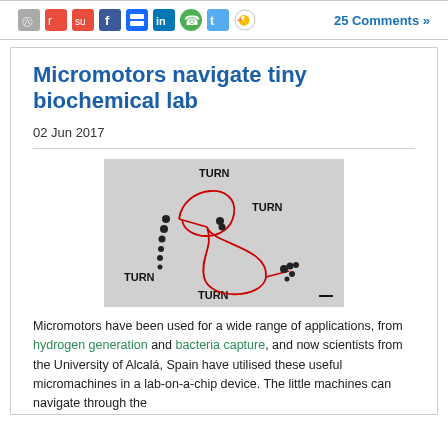25 Comments »
Micromotors navigate tiny biochemical lab
02 Jun 2017
[Figure (photo): Microscopy image showing a micromotor navigating a lab-on-a-chip device, with red traced paths and the word TURN annotated at four positions indicating turning points of the micromotor trajectory.]
Micromotors have been used for a wide range of applications, from hydrogen generation and bacteria capture, and now scientists from the University of Alcalá, Spain have utilised these useful micromachines in a lab-on-a-chip device. The little machines can navigate through the